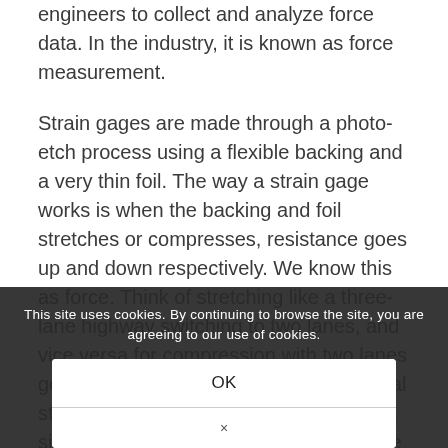engineers to collect and analyze force data. In the industry, it is known as force measurement.
Strain gages are made through a photo-etch process using a flexible backing and a very thin foil. The way a strain gage works is when the backing and foil stretches or compresses, resistance goes up and down respectively. We know this as force. Think of stretching like a three-lane highway switching to two lanes, and vice versa for compression with two lanes going into three. As the load cell's internal strain gage experiences force, it sends a signal with a precise measurement of the amount of force, it's
This site uses cookies. By continuing to browse the site, you are agreeing to our use of cookies.
OK
×